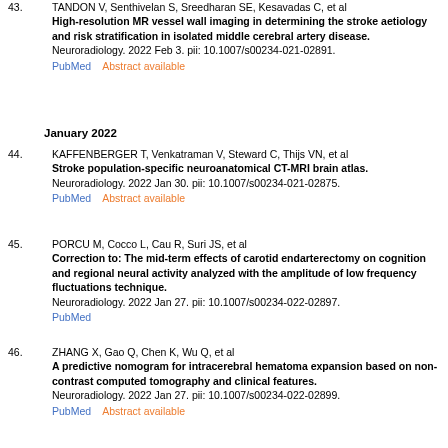43. TANDON V, Senthivelan S, Sreedharan SE, Kesavadas C, et al. High-resolution MR vessel wall imaging in determining the stroke aetiology and risk stratification in isolated middle cerebral artery disease. Neuroradiology. 2022 Feb 3. pii: 10.1007/s00234-021-02891. PubMed    Abstract available
January 2022
44. KAFFENBERGER T, Venkatraman V, Steward C, Thijs VN, et al. Stroke population-specific neuroanatomical CT-MRI brain atlas. Neuroradiology. 2022 Jan 30. pii: 10.1007/s00234-021-02875. PubMed    Abstract available
45. PORCU M, Cocco L, Cau R, Suri JS, et al. Correction to: The mid-term effects of carotid endarterectomy on cognition and regional neural activity analyzed with the amplitude of low frequency fluctuations technique. Neuroradiology. 2022 Jan 27. pii: 10.1007/s00234-022-02897. PubMed
46. ZHANG X, Gao Q, Chen K, Wu Q, et al. A predictive nomogram for intracerebral hematoma expansion based on non-contrast computed tomography and clinical features. Neuroradiology. 2022 Jan 27. pii: 10.1007/s00234-022-02899. PubMed    Abstract available